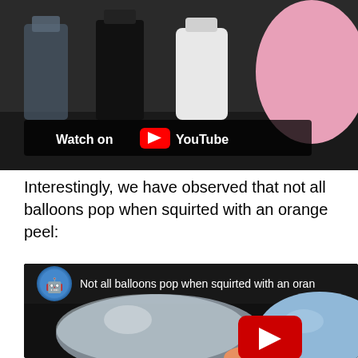[Figure (screenshot): YouTube video thumbnail showing bottles on a shelf with a pink balloon. A 'Watch on YouTube' button overlay is visible at the bottom left.]
Interestingly, we have observed that not all balloons pop when squirted with an orange peel:
[Figure (screenshot): YouTube video embed showing two balloons (a transparent/white balloon and a blue balloon) with a play button in the center. The video title reads 'Not all balloons pop when squirted with an oran...' A cartoon avatar icon is visible in the top left.]